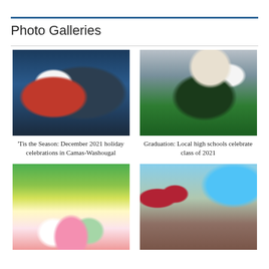Photo Galleries
[Figure (photo): Santa Claus sitting in a chair in front of a Toy Shoppe backdrop]
'Tis the Season: December 2021 holiday celebrations in Camas-Washougal
[Figure (photo): Graduate in green cap and gown, decorated graduation cap visible, seated at outdoor ceremony]
Graduation: Local high schools celebrate class of 2021
[Figure (photo): Person wearing mask arranging flowers at an outdoor market table]
[Figure (photo): Protest march with American flags and sign reading HOW MANY WEREN'T FILMED]